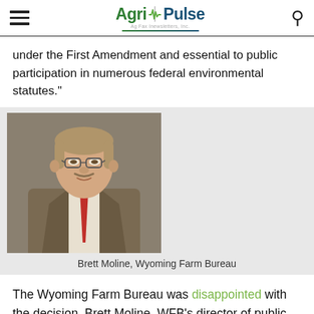Agri Pulse — Ag Fax Inewsletters, Inc.
under the First Amendment and essential to public participation in numerous federal environmental statutes."
[Figure (photo): Portrait photo of Brett Moline, a man in a brown suit with a red tie and glasses, photographed against a gray background.]
Brett Moline, Wyoming Farm Bureau
The Wyoming Farm Bureau was disappointed with the decision. Brett Moline, WFB's director of public and